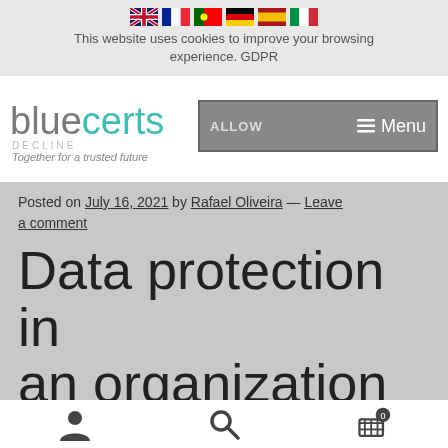This website uses cookies to improve your browsing experience. GDPR
[Figure (logo): Bluecerts logo with DECLINE text and tagline 'Together for a trusted future']
ALLOW  Menu
Posted on July 16, 2021 by Rafael Oliveira — Leave a comment
Data protection in an organization
[Figure (other): Bottom toolbar with user icon, search icon, and shopping cart icon with 0 badge]